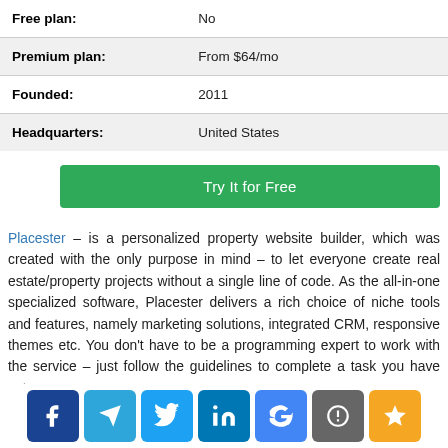| Free plan: | No |
| Premium plan: | From $64/mo |
| Founded: | 2011 |
| Headquarters: | United States |
Try It for Free
Placester – is a personalized property website builder, which was created with the only purpose in mind – to let everyone create real estate/property projects without a single line of code. As the all-in-one specialized software, Placester delivers a rich choice of niche tools and features, namely marketing solutions, integrated CRM, responsive themes etc. You don't have to be a programming expert to work with the service – just follow the guidelines to complete a task you have set.
[Figure (other): Social media sharing icons: Facebook, Telegram, Twitter, LinkedIn, Google, GitHub/other, Star/bookmark]